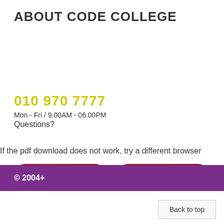ABOUT CODE COLLEGE
010 970 7777
Mon - Fri / 9.00AM - 06.00PM
Questions?
If the pdf download does not work, try a different browser
[Figure (other): Two red rounded Download PDF buttons side by side]
© 2004+
Back to top